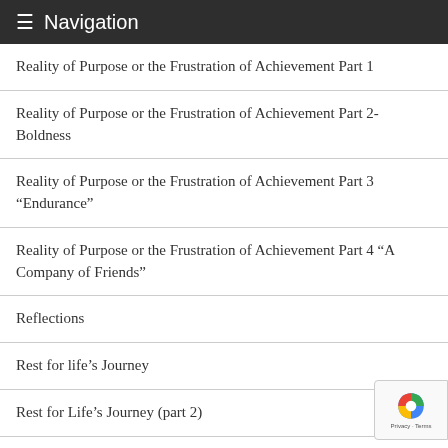≡ Navigation
Reality of Purpose or the Frustration of Achievement Part 1
Reality of Purpose or the Frustration of Achievement Part 2-Boldness
Reality of Purpose or the Frustration of Achievement Part 3 “Endurance”
Reality of Purpose or the Frustration of Achievement Part 4 “A Company of Friends”
Reflections
Rest for life’s Journey
Rest for Life’s Journey (part 2)